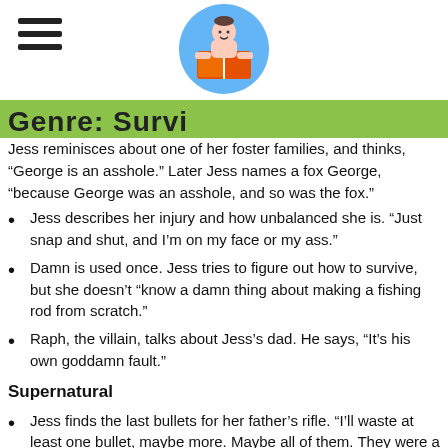Genre: Survival
Jess reminisces about one of her foster families, and thinks, “George is an asshole.” Later Jess names a fox George, “because George was an asshole, and so was the fox.”
Jess describes her injury and how unbalanced she is. “Just snap and shut, and I’m on my face or my ass.”
Damn is used once. Jess tries to figure out how to survive, but she doesn’t “know a damn thing about making a fishing rod from scratch.”
Raph, the villain, talks about Jess’s dad. He says, “It’s his own goddamn fault.”
Supernatural
Jess finds the last bullets for her father’s rifle. “I’ll waste at least one bullet, maybe more. Maybe all of them. They were a talisman. A piece of magic I was searching for, but now I